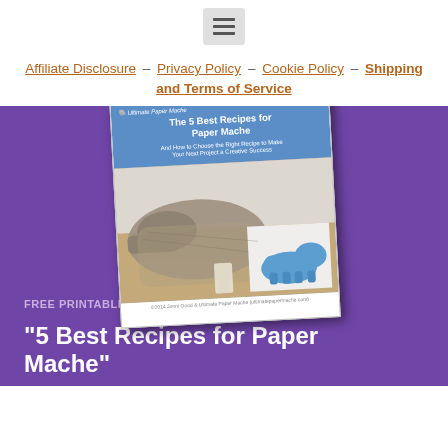☰ (menu icon)
Affiliate Disclosure – Privacy Policy – Cookie Policy – Shipping and Terms of Service
[Figure (photo): Book cover for 'The 5 Best Recipes for Paper Mache' showing paper mache crocodile and blue hippo figurine, displayed on purple background]
FREE PRINTABLE DOWNLOAD:
"5 Best Recipes for Paper Mache"